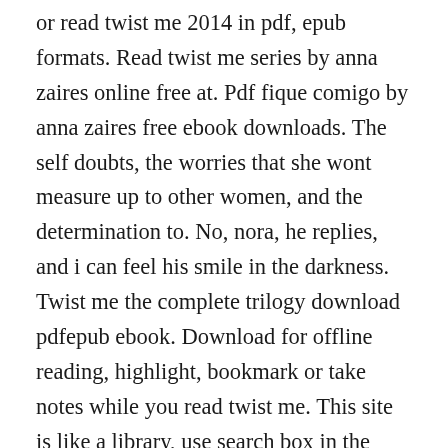or read twist me 2014 in pdf, epub formats. Read twist me series by anna zaires online free at. Pdf fique comigo by anna zaires free ebook downloads. The self doubts, the worries that she wont measure up to other women, and the determination to. No, nora, he replies, and i can feel his smile in the darkness. Twist me the complete trilogy download pdfepub ebook. Download for offline reading, highlight, bookmark or take notes while you read twist me. This site is like a library, use search box in the widget to get ebook that you want. In the meantime, my bladder tells me i